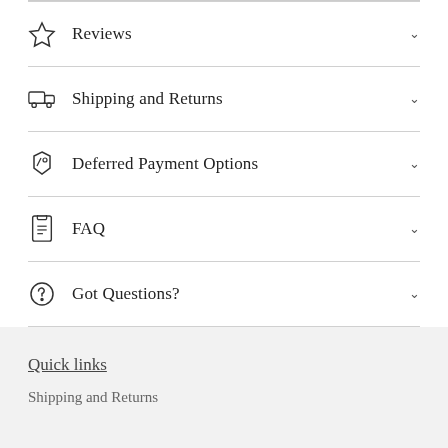Reviews
Shipping and Returns
Deferred Payment Options
FAQ
Got Questions?
Quick links
Shipping and Returns